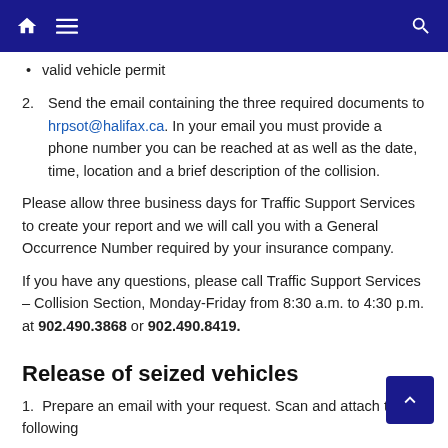Navigation bar with home, menu, and search icons
valid vehicle permit
Send the email containing the three required documents to hrpsot@halifax.ca. In your email you must provide a phone number you can be reached at as well as the date, time, location and a brief description of the collision.
Please allow three business days for Traffic Support Services to create your report and we will call you with a General Occurrence Number required by your insurance company.
If you have any questions, please call Traffic Support Services – Collision Section, Monday-Friday from 8:30 a.m. to 4:30 p.m. at 902.490.3868 or 902.490.8419.
Release of seized vehicles
1. Prepare an email with your request. Scan and attach the following